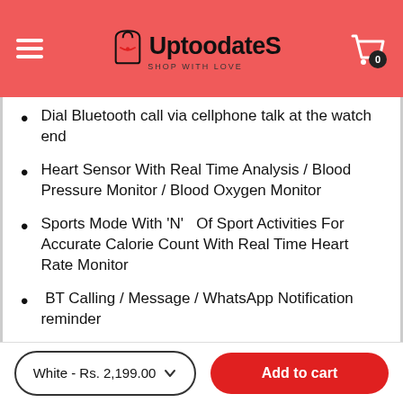UptoodateS - Shop With Love
Dial Bluetooth call via cellphone talk at the watch end
Heart Sensor With Real Time Analysis / Blood Pressure Monitor / Blood Oxygen Monitor
Sports Mode With 'N'  Of Sport Activities For Accurate Calorie Count With Real Time Heart Rate Monitor
BT Calling / Message / WhatsApp Notification reminder
White - Rs. 2,199.00  Add to cart